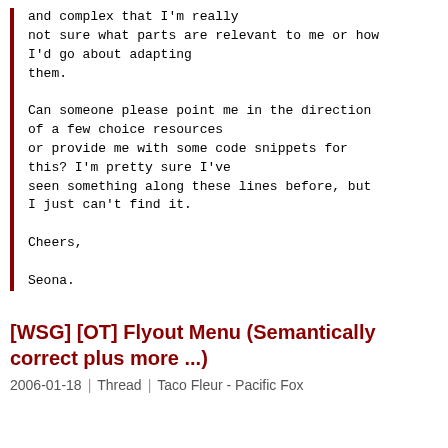and complex that I'm really
not sure what parts are relevant to me or how
I'd go about adapting
them.

Can someone please point me in the direction
of a few choice resources
or provide me with some code snippets for
this? I'm pretty sure I've
seen something along these lines before, but
I just can't find it.

Cheers,

Seona.
[WSG] [OT] Flyout Menu (Semantically correct plus more ...)
2006-01-18  |  Thread  |  Taco Fleur - Pacific Fox